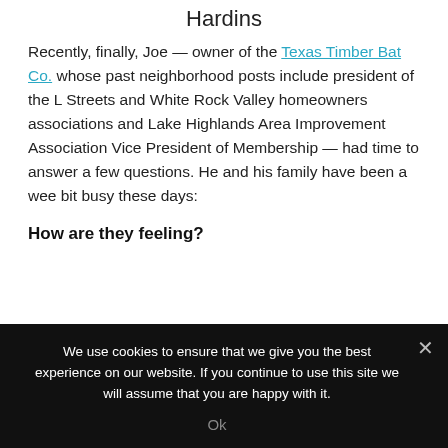Hardins
Recently, finally, Joe — owner of the Texas Timber Bat Co. whose past neighborhood posts include president of the L Streets and White Rock Valley homeowners associations and Lake Highlands Area Improvement Association Vice President of Membership — had time to answer a few questions. He and his family have been a wee bit busy these days:
How are they feeling?
We use cookies to ensure that we give you the best experience on our website. If you continue to use this site we will assume that you are happy with it.